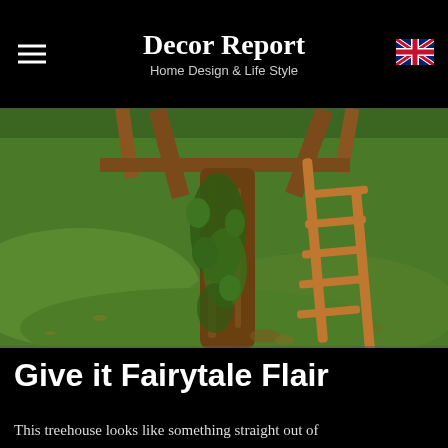Decor Report
Home Design & Life Style
[Figure (photo): Outdoor treehouse scene with a wooden ladder leaning against a large tree trunk covered with ivy, set in a lush green grass lawn]
Give it Fairytale Flair
This treehouse looks like something straight out of